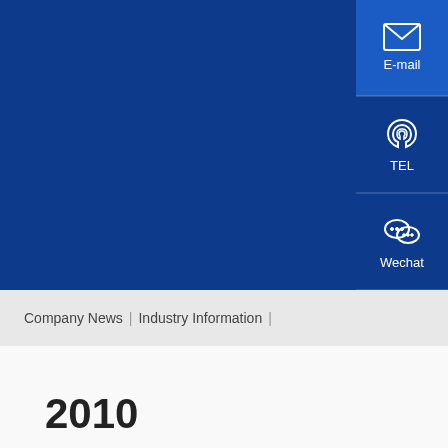[Figure (screenshot): Company website interface with dark blue background and right-side contact sidebar buttons (E-mail, TEL, Wechat)]
Company News | Industry Information |
2010